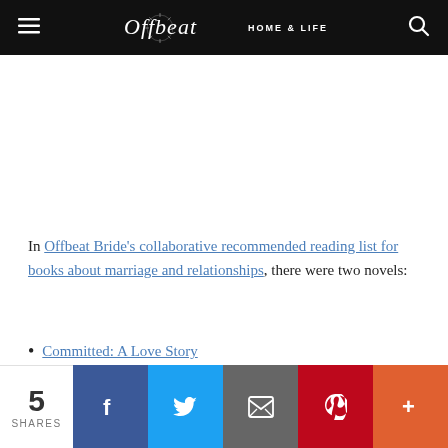Offbeat HOME & LIFE
In Offbeat Bride's collaborative recommended reading list for books about marriage and relationships, there were two novels:
Committed: A Love Story
The Feast of Love: A Novel
5 SHARES | Facebook | Twitter | Email | Pinterest | More